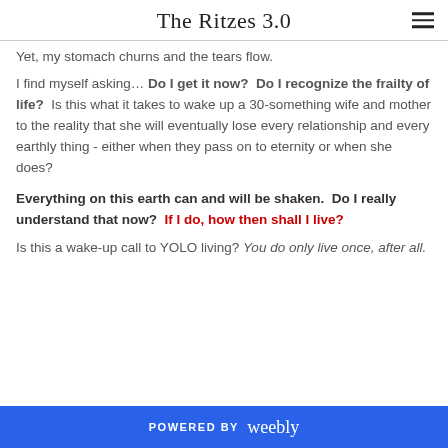The Ritzes 3.0
Yet, my stomach churns and the tears flow.
I find myself asking... Do I get it now?  Do I recognize the frailty of life?  Is this what it takes to wake up a 30-something wife and mother to the reality that she will eventually lose every relationship and every earthly thing - either when they pass on to eternity or when she does?
Everything on this earth can and will be shaken.  Do I really understand that now?  If I do, how then shall I live?
Is this a wake-up call to YOLO living? You do only live once, after all.
POWERED BY weebly